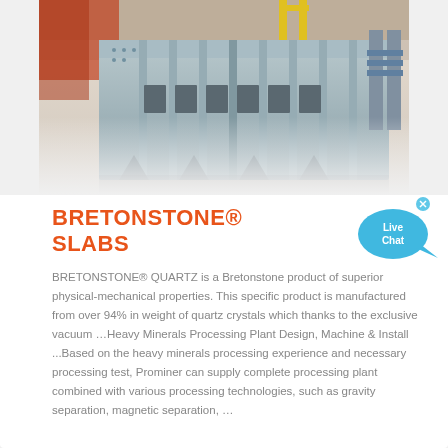[Figure (photo): Industrial vibrating screen / sieving machine in a factory setting, painted light blue/grey, photographed from the side showing the metal frame, deck sections, and supports. Background shows a warehouse interior with yellow structures.]
BRETONSTONE® SLABS
[Figure (illustration): Live Chat button — a cyan speech bubble with a small fish tail shape and an X close button, containing the text 'Live Chat']
BRETONSTONE® QUARTZ is a Bretonstone product of superior physical-mechanical properties. This specific product is manufactured from over 94% in weight of quartz crystals which thanks to the exclusive vacuum …Heavy Minerals Processing Plant Design, Machine & Install ...Based on the heavy minerals processing experience and necessary processing test, Prominer can supply complete processing plant combined with various processing technologies, such as gravity separation, magnetic separation, …